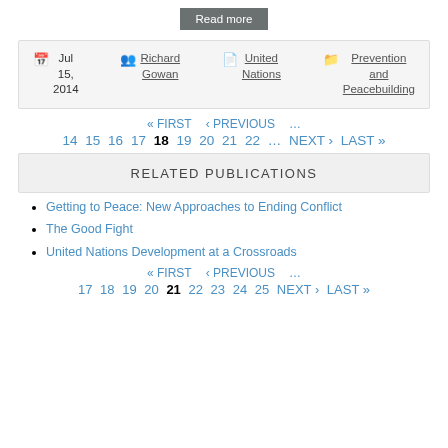Read more
Jul 15, 2014 | Richard Gowan | United Nations | Prevention and Peacebuilding
« FIRST ‹ PREVIOUS … 14 15 16 17 18 19 20 21 22 … NEXT › LAST »
RELATED PUBLICATIONS
Getting to Peace: New Approaches to Ending Conflict
The Good Fight
United Nations Development at a Crossroads
« FIRST ‹ PREVIOUS … 17 18 19 20 21 22 23 24 25 NEXT › LAST »